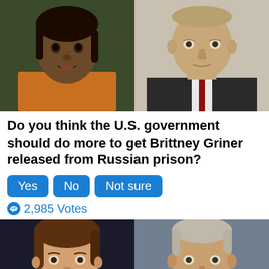[Figure (photo): Two photos side by side: left shows a young Black woman (Brittney Griner) in an orange jersey, right shows Vladimir Putin in a suit]
Do you think the U.S. government should do more to get Brittney Griner released from Russian prison?
Yes  No  Not sure
2,985 Votes
[Figure (photo): Two photos side by side: left shows Nancy Pelosi, right shows Kevin McCarthy]